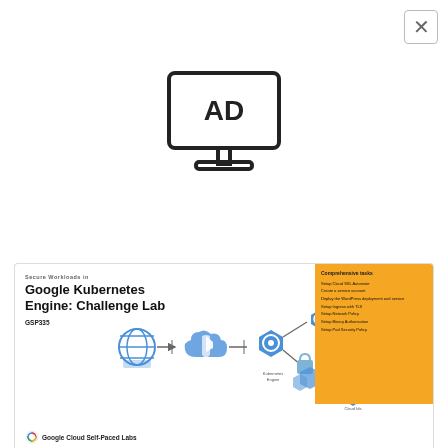[Figure (other): Advertisement placeholder icon - monitor with AD text]
[Figure (screenshot): Partial screenshot of Google Cloud Self-Paced Labs page showing 'Secure Workloads in Google Kubernetes Engine: Challenge Lab' (GSP335) with a diagram of cloud infrastructure components and a yellow table of contents box listing: Setup Cloud SSL Automate, Create a service account, Deploy the WordPress deployment and service, Setup Ingress with TLS, Setup Network Policy, Setup Binary Authorization, Setup Pod Security Policy]